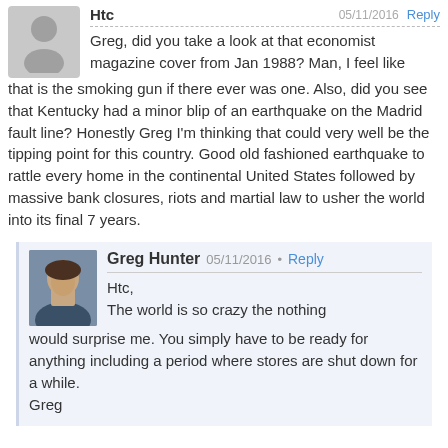[Figure (illustration): Gray placeholder avatar silhouette for anonymous user top comment]
Htc   05/11/2016   Reply
Greg, did you take a look at that economist magazine cover from Jan 1988? Man, I feel like that is the smoking gun if there ever was one. Also, did you see that Kentucky had a minor blip of an earthquake on the Madrid fault line? Honestly Greg I'm thinking that could very well be the tipping point for this country. Good old fashioned earthquake to rattle every home in the continental United States followed by massive bank closures, riots and martial law to usher the world into its final 7 years.
[Figure (photo): Photo of Greg Hunter, a man in a suit]
Greg Hunter   05/11/2016   Reply
Htc,
The world is so crazy the nothing would surprise me. You simply have to be ready for anything including a period where stores are shut down for a while.
Greg